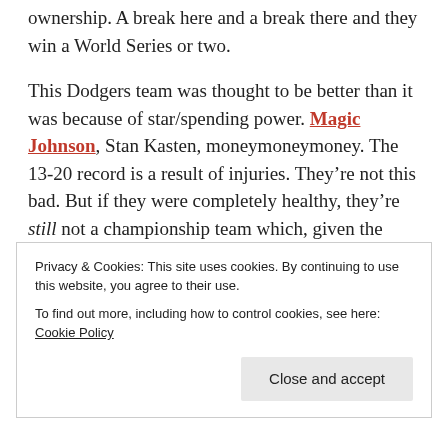ownership. A break here and a break there and they win a World Series or two.
This Dodgers team was thought to be better than it was because of star/spending power. Magic Johnson, Stan Kasten, moneymoneymoney. The 13-20 record is a result of injuries. They’re not this bad. But if they were completely healthy, they’re still not a championship team which, given the amount of cash they’ve laid out, is what should’ve been and apparently was expected judging by the reaction their slow start is receiving. The season is still salvageable. It’s only May, but their ceiling wasn’t that high to start
Privacy & Cookies: This site uses cookies. By continuing to use this website, you agree to their use. To find out more, including how to control cookies, see here: Cookie Policy
Close and accept